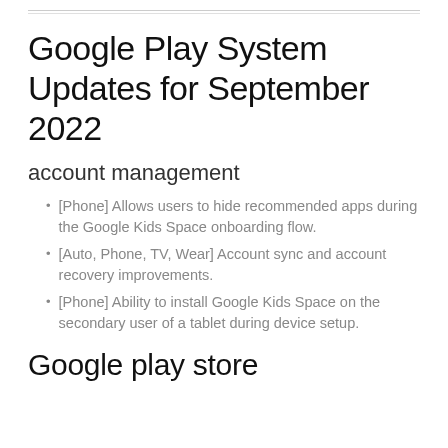Google Play System Updates for September 2022
account management
[Phone] Allows users to hide recommended apps during the Google Kids Space onboarding flow.
[Auto, Phone, TV, Wear] Account sync and account recovery improvements.
[Phone] Ability to install Google Kids Space on the secondary user of a tablet during device setup.
Google play store